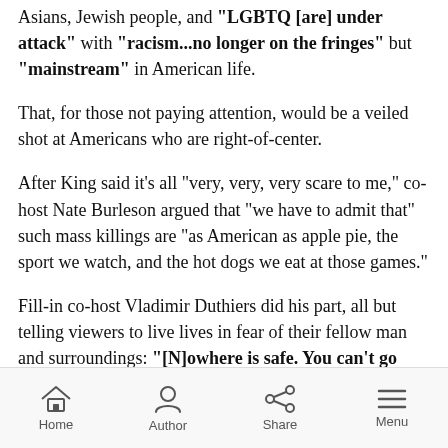Asians, Jewish people, and "LGBTQ [are] under attack" with "racism...no longer on the fringes" but "mainstream" in American life.
That, for those not paying attention, would be a veiled shot at Americans who are right-of-center.
After King said it’s all “very, very, very scare to me,” co-host Nate Burleson argued that “we have to admit that” such mass killings are “as American as apple pie, the sport we watch, and the hot dogs we eat at those games.”
Fill-in co-host Vladimir Duthiers did his part, all but telling viewers to live lives in fear of their fellow man and surroundings: "“[N]owhere is safe. You can’t go
Home  Author  Share  Menu